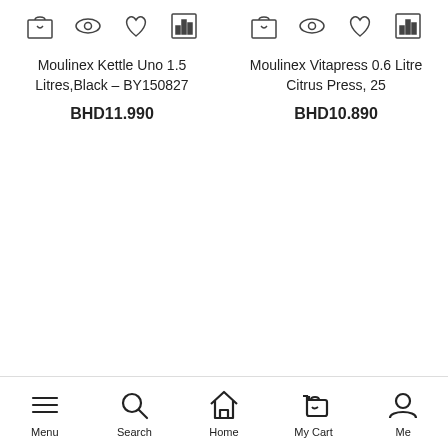[Figure (screenshot): Product action icons for first product: shopping bag, eye/view, heart/wishlist, compare chart]
Moulinex Kettle Uno 1.5 Litres,Black – BY150827
BHD11.990
[Figure (screenshot): Product action icons for second product: shopping bag, eye/view, heart/wishlist, compare chart]
Moulinex Vitapress 0.6 Litre Citrus Press, 25
BHD10.890
Menu  Search  Home  My Cart  Me